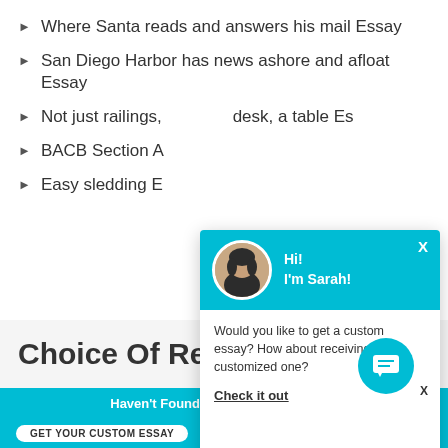Where Santa reads and answers his mail Essay
San Diego Harbor has news ashore and afloat Essay
Not just railings, desk, a table Essay
BACB Section A
Easy sledding E
[Figure (screenshot): Chat popup with avatar photo of Sarah, teal header saying Hi! I'm Sarah!, and body text: Would you like to get a custom essay? How about receiving a customized one? Check it out]
Choice Of Readers
Haven't Found The Essay You Want?
GET YOUR CUSTOM ESSAY
For Only $13.90/page